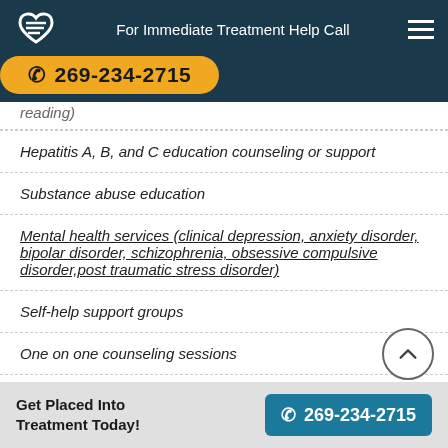For Immediate Treatment Help Call 269-234-2715
Hepatitis A, B, and C education counseling or support
Substance abuse education
Mental health services (clinical depression, anxiety disorder, bipolar disorder, schizophrenia, obsessive compulsive disorder,post traumatic stress disorder)
Self-help support groups
One on one counseling sessions
Group counseling sessions
Get Placed Into Treatment Today! 269-234-2715